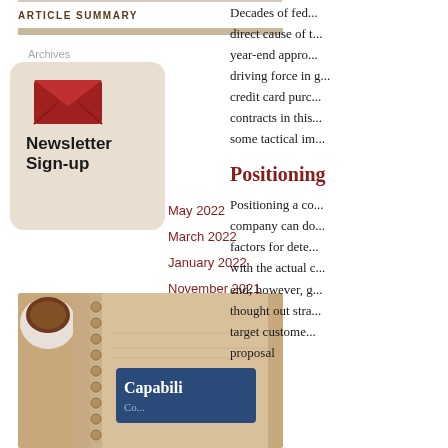ARTICLE SUMMARY
Archives
[Figure (illustration): Newsletter Sign-up box with envelope icon on beige rounded rectangle background]
May 2022
March 2022
January 2022
November 2021
September 2021
July 2021
October 2021
August 2021
Decades of federal... direct cause of t... year-end appro... driving force in g... credit card purc... contracts in this... some tactical im...
Positioning
Positioning a co... company can do... factors for dete... with the actual c... end; however, g... thought out stra... target custome... proposal
[Figure (photo): Overhead photo of a spiral notebook with 'Capabili...' text on a blue label, with a coffee cup on the left, on a beige/tan surface]